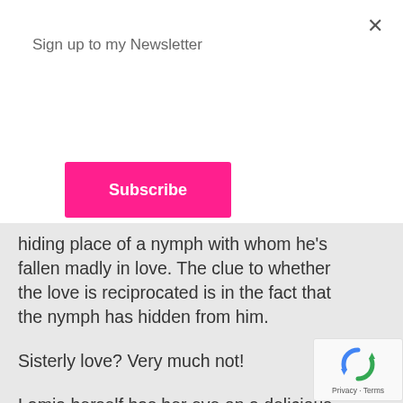Sign up to my Newsletter
Subscribe
hiding place of a nymph with whom he's fallen madly in love. The clue to whether the love is reciprocated is in the fact that the nymph has hidden from him.
Sisterly love? Very much not!
Lamia herself has her eye on a delicious fellow and, as the beautiful woman she has been transformed into, she seduces him and they live a solitary life together until one day he says that they really